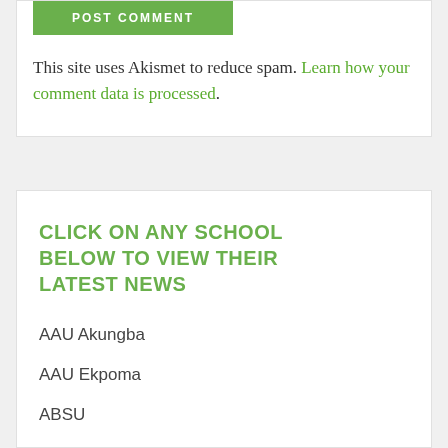[Figure (other): Green POST COMMENT button at top of card]
This site uses Akismet to reduce spam. Learn how your comment data is processed.
CLICK ON ANY SCHOOL BELOW TO VIEW THEIR LATEST NEWS
AAU Akungba
AAU Ekpoma
ABSU
ABU Zaria
ABUAD